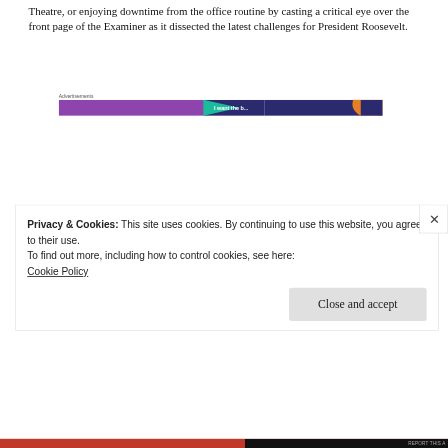Theatre, or enjoying downtime from the office routine by casting a critical eye over the front page of the Examiner as it dissected the latest challenges for President Roosevelt.
Advertisements
[Figure (other): Advertisement banner with purple, teal, and orange sections, partially cropped]
Privacy & Cookies: This site uses cookies. By continuing to use this website, you agree to their use.
To find out more, including how to control cookies, see here:
Cookie Policy
Close and accept